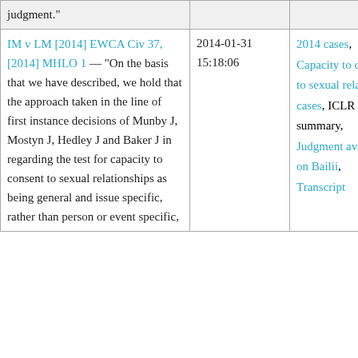| Case | Date | Categories/Notes |
| --- | --- | --- |
| judgment." |  |  |
| IM v LM [2014] EWCA Civ 37, [2014] MHLO 1 — "On the basis that we have described, we hold that the approach taken in the line of first instance decisions of Munby J, Mostyn J, Hedley J and Baker J in regarding the test for capacity to consent to sexual relationships as being general and issue specific, rather than person or event specific... | 2014-01-31 15:18:06 | 2014 cases, Capacity to consent to sexual relations cases, ICLR summary, Judgment available on Bailii, Transcript |